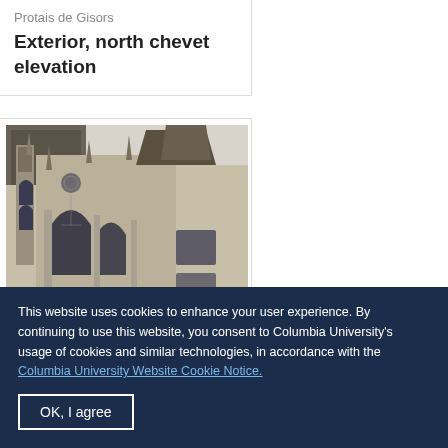Protais de Gisors
Exterior, north chevet elevation
[Figure (photo): Photograph of the exterior north chevet elevation of Protais de Gisors, a Gothic church showing buttresses, arched windows, and stone facade]
This website uses cookies to enhance your user experience. By continuing to use this website, you consent to Columbia University's usage of cookies and similar technologies, in accordance with the Columbia University Website Cookie Notice.
OK, I agree